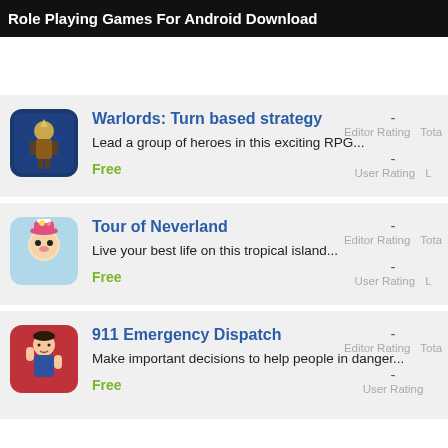Role Playing Games For Android Download
Warlords: Turn based strategy
Lead a group of heroes in this exciting RPG...
Free
- Editor Rating  Tota
- User Rating  L
Tour of Neverland
Live your best life on this tropical island...
Free
- Editor Rating  Tota
- User Rating  L
911 Emergency Dispatch
Make important decisions to help people in danger...
Free
- Editor Rating  Tota
- User Rating